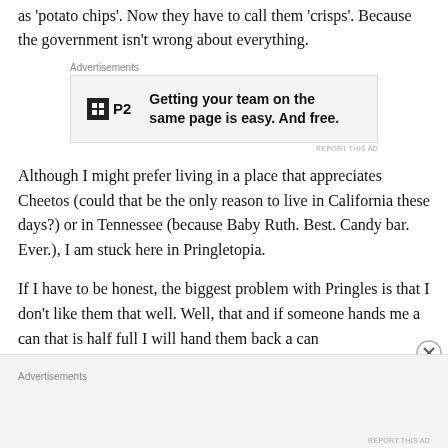as 'potato chips'. Now they have to call them 'crisps'. Because the government isn't wrong about everything.
[Figure (other): Advertisement banner for P2: 'Getting your team on the same page is easy. And free.']
Although I might prefer living in a place that appreciates Cheetos (could that be the only reason to live in California these days?) or in Tennessee (because Baby Ruth. Best. Candy bar. Ever.), I am stuck here in Pringletopia.
If I have to be honest, the biggest problem with Pringles is that I don't like them that well. Well, that and if someone hands me a can that is half full I will hand them back a can
[Figure (other): Advertisements section at bottom of page]